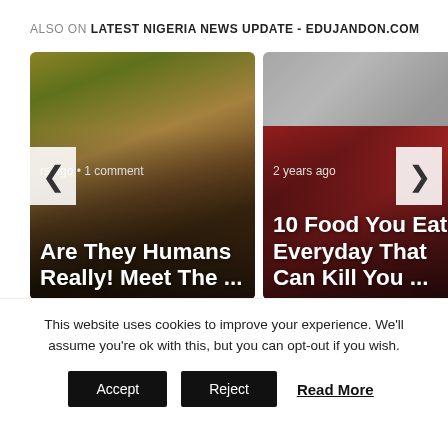ALSO ON LATEST NIGERIA NEWS UPDATE - EDUJANDON.COM
[Figure (photo): Card 1: Photo of an African child with plants/greens, overlaid with text 'rs ago • 1 comment' and title 'Are They Humans Really! Meet The ...']
[Figure (photo): Card 2: Photo of dark red raw meat (liver), overlaid with text '2 years ago' and title '10 Food You Eat Everyday That Can Kill You ...']
This website uses cookies to improve your experience. We'll assume you're ok with this, but you can opt-out if you wish.
Accept  Reject  Read More